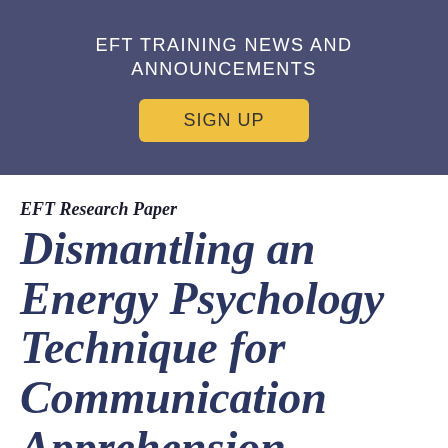EFT TRAINING NEWS AND ANNOUNCEMENTS
SIGN UP
EFT Research Paper
Dismantling an Energy Psychology Technique for Communication Apprehension